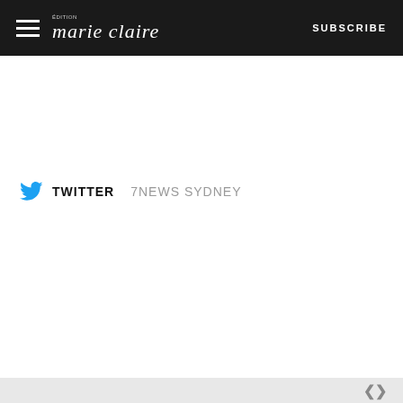marie claire — SUBSCRIBE
TWITTER  7NEWS SYDNEY